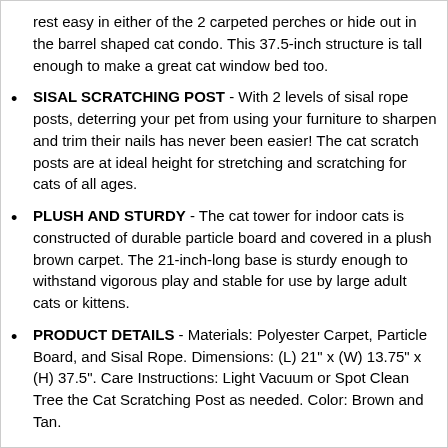rest easy in either of the 2 carpeted perches or hide out in the barrel shaped cat condo. This 37.5-inch structure is tall enough to make a great cat window bed too.
SISAL SCRATCHING POST - With 2 levels of sisal rope posts, deterring your pet from using your furniture to sharpen and trim their nails has never been easier! The cat scratch posts are at ideal height for stretching and scratching for cats of all ages.
PLUSH AND STURDY - The cat tower for indoor cats is constructed of durable particle board and covered in a plush brown carpet. The 21-inch-long base is sturdy enough to withstand vigorous play and stable for use by large adult cats or kittens.
PRODUCT DETAILS - Materials: Polyester Carpet, Particle Board, and Sisal Rope. Dimensions: (L) 21" x (W) 13.75" x (H) 37.5". Care Instructions: Light Vacuum or Spot Clean Tree the Cat Scratching Post as needed. Color: Brown and Tan.